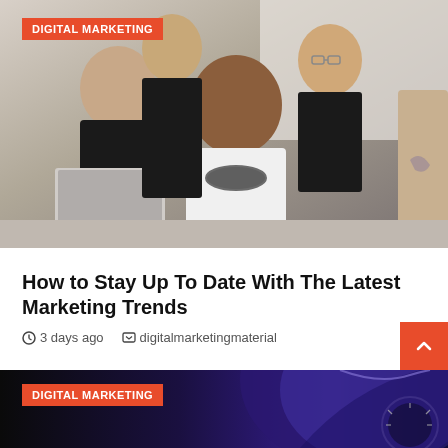[Figure (photo): Group of young professionals gathered around a laptop, working together in an office setting. A red DIGITAL MARKETING badge overlays the top-left corner.]
How to Stay Up To Date With The Latest Marketing Trends
3 days ago   digitalmarketingmaterial
[Figure (photo): Dark background with a partial view of a purple/blue car. A red DIGITAL MARKETING badge overlays the top-left corner.]